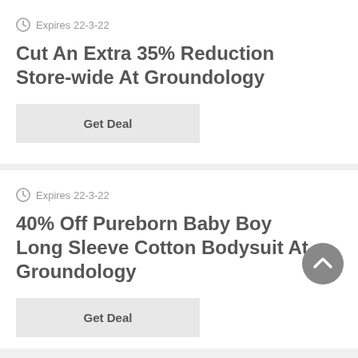Expires 22-3-22
Cut An Extra 35% Reduction Store-wide At Groundology
Get Deal
Expires 22-3-22
40% Off Pureborn Baby Boy Long Sleeve Cotton Bodysuit At Groundology
Get Deal